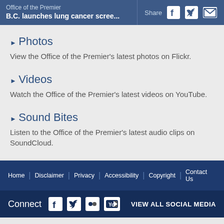Office of the Premier
B.C. launches lung cancer scree...
Photos
View the Office of the Premier's latest photos on Flickr.
Videos
Watch the Office of the Premier's latest videos on YouTube.
Sound Bites
Listen to the Office of the Premier's latest audio clips on SoundCloud.
Home | Disclaimer | Privacy | Accessibility | Copyright | Contact Us
Connect  VIEW ALL SOCIAL MEDIA